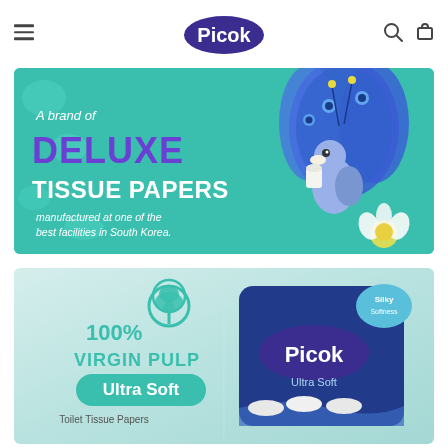Picok — navigation header with hamburger menu, logo, search and cart icons
[Figure (illustration): Teal/turquoise banner reading 'A brand of DELUXE TISSUE PAPERS manufactured at one of the best facilities in South Korea.' with a cartoon peacock holding a tissue roll on the right, floral background on the left]
[Figure (illustration): Light blue/teal background product banner showing '100% VIRGIN PULP Ultra Soft Toilet Tissue Papers' with a tree icon on the left, and Picok Ultra Soft toilet paper rolls packaging with 'Silky Softness' badge on the right]